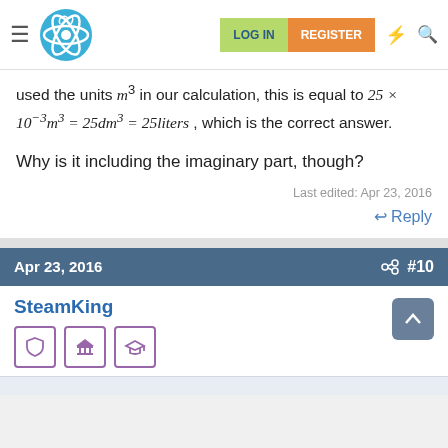Navigation bar with logo, LOG IN, REGISTER buttons
used the units m³ in our calculation, this is equal to 25 × 10⁻³m³ = 25dm³ = 25liters , which is the correct answer.
Why is it including the imaginary part, though?
Last edited: Apr 23, 2016
↩ Reply
Apr 23, 2016  #10
SteamKing